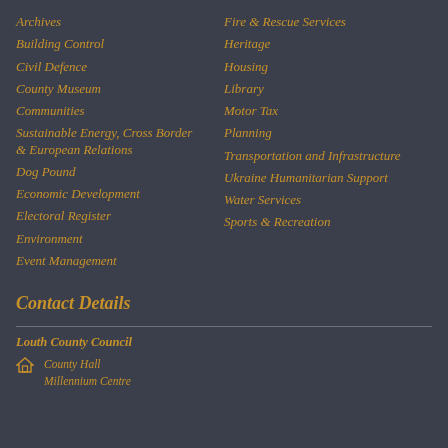Archives
Building Control
Civil Defence
County Museum
Communities
Sustainable Energy, Cross Border & European Relations
Dog Pound
Economic Development
Electoral Register
Environment
Event Management
Fire & Rescue Services
Heritage
Housing
Library
Motor Tax
Planning
Transportation and Infrastructure
Ukraine Humanitarian Support
Water Services
Sports & Recreation
Contact Details
Louth County Council
County Hall
Millennium Centre